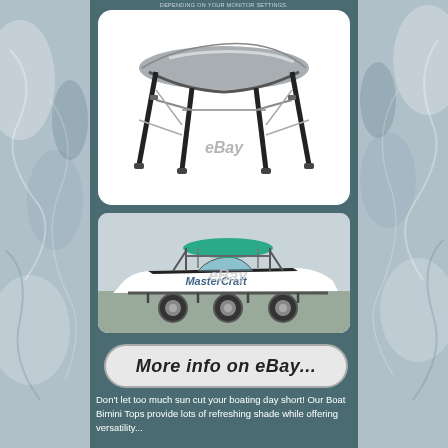DEPENDING ON YOUR MONITOR SETTINGS.
[Figure (photo): Boat bimini top frame with gray cover, shown as a standalone product on white background with eBay watermark]
[Figure (photo): MasterCraft boat on trailer with teal/green bimini top installed, parked outdoors with eBay watermark]
[Figure (other): Rounded rectangle button with text 'More info on eBay...' in italic style]
Don't let too much sun cut your boating day short! Our Boat Bimini Tops provide lots of refreshing shade while offering versatility...